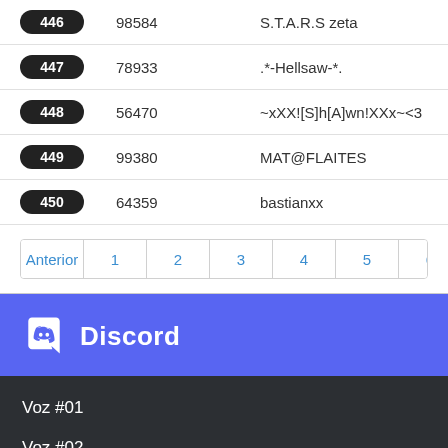| # | ID | Name |
| --- | --- | --- |
| 446 | 98584 | S.T.A.R.S zeta |
| 447 | 78933 | .*-Hellsaw-*. |
| 448 | 56470 | ~xXX![S]h[A]wn!XXx~<3 |
| 449 | 99380 | MAT@FLAITES |
| 450 | 64359 | bastianxx |
Anterior 1 2 3 4 5 6 7 8 9
[Figure (other): Discord logo and branding header with blue background]
Voz #01
Voz #02
Voz #03